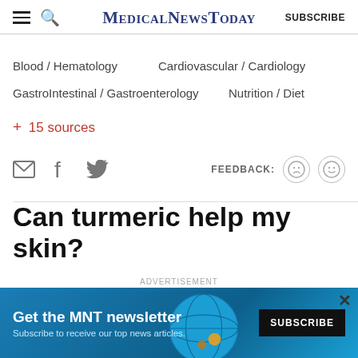MedicalNewsToday | SUBSCRIBE
Blood / Hematology
Cardiovascular / Cardiology
GastroIntestinal / Gastroenterology
Nutrition / Diet
+ 15 sources
[Figure (other): Social sharing icons: email, Facebook, Twitter; Feedback buttons: sad and happy face]
Can turmeric help my skin?
Medically reviewed by Debra Rose Wilson, Ph.D., MSN
ADVERTISEMENT
Get the MNT newsletter
Subscribe to receive our top news articles.
SUBSCRIBE